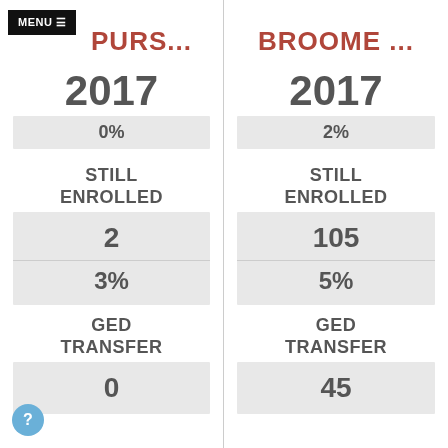PURS...
BROOME ...
2017
2017
0%
2%
STILL ENROLLED
STILL ENROLLED
2
105
3%
5%
GED TRANSFER
GED TRANSFER
0
45